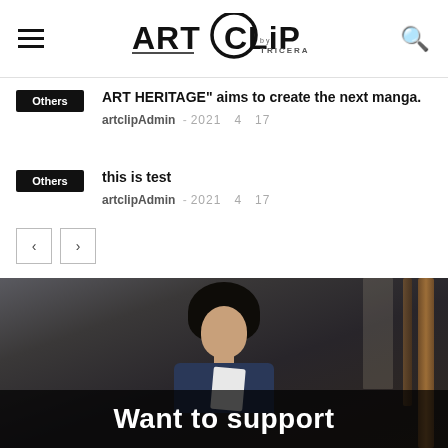ART CLiP by TRICERA
ART HERITAGE" aims to create the next manga.
artclipAdmin - 2021 4 17
this is test
artclipAdmin - 2021 4 17
[Figure (photo): Woman with short dark hair holding a notebook, sitting near wooden chairs, with overlay text 'Want to support']